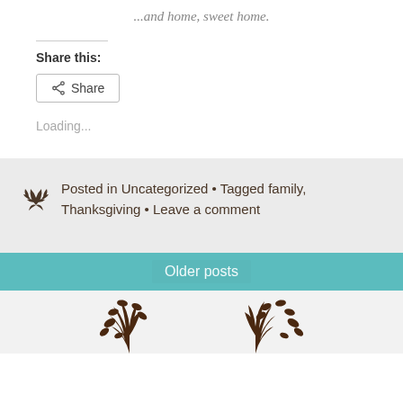...and home, sweet home.
Share this:
Share
Loading...
Posted in Uncategorized • Tagged family, Thanksgiving • Leave a comment
Older posts
[Figure (illustration): Decorative brown leaf/branch illustration at the bottom of the page]